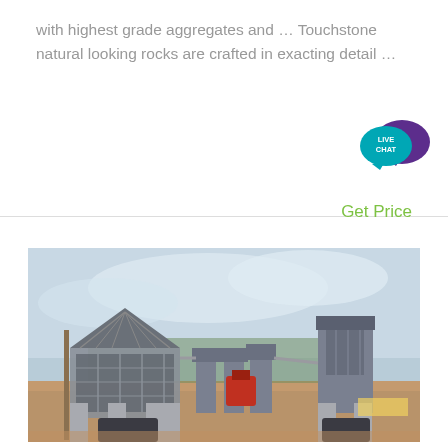with highest grade aggregates and … Touchstone natural looking rocks are crafted in exacting detail …
[Figure (other): Live Chat button icon — teal speech bubble with 'LIVE CHAT' text, dark purple speech bubble overlapping]
Get Price
[Figure (photo): Industrial aggregate crushing plant under construction with multiple large buildings, conveyor systems, silos and structural concrete frames against a cloudy sky]